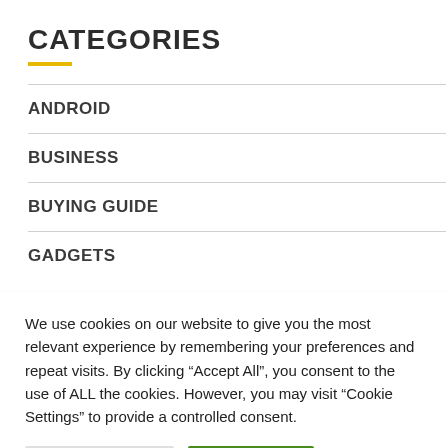CATEGORIES
ANDROID
BUSINESS
BUYING GUIDE
GADGETS
We use cookies on our website to give you the most relevant experience by remembering your preferences and repeat visits. By clicking “Accept All”, you consent to the use of ALL the cookies. However, you may visit “Cookie Settings” to provide a controlled consent.
Cookie Settings | Accept All